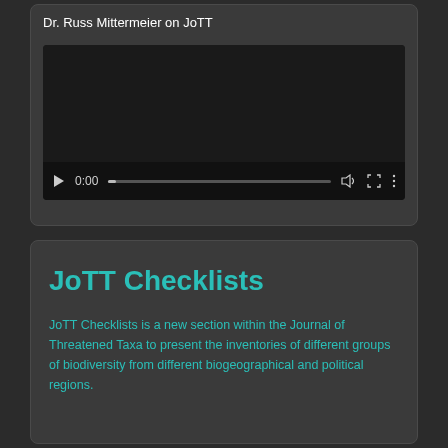Dr. Russ Mittermeier on JoTT
[Figure (screenshot): Video player with dark background showing controls: play button, timestamp 0:00, progress bar, volume icon, fullscreen icon, and options icon]
JoTT Checklists
JoTT Checklists is a new section within the Journal of Threatened Taxa to present the inventories of different groups of biodiversity from different biogeographical and political regions.